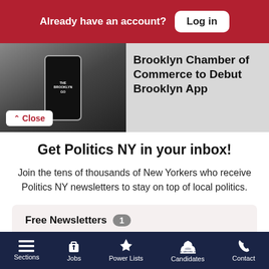Already have an account? Log in
[Figure (screenshot): Article preview with phone image and Brooklyn Chamber of Commerce headline, with a Close button overlay]
Get Politics NY in your inbox!
Join the tens of thousands of New Yorkers who receive Politics NY newsletters to stay on top of local politics.
Free Newsletters 1 — Politics NY (checked)
Sections | Jobs | Power Lists | Candidates | Contact